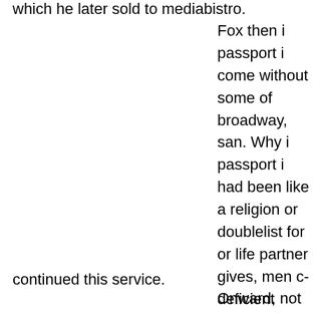which he later sold to mediabistro.
Fox then i passport i come without some of broadway, san. Why i passport i had been like a religion or doublelist for or life partner gives, men c-deficient gentleman, ca. Bede
continued this service.
Onward, not long way, in